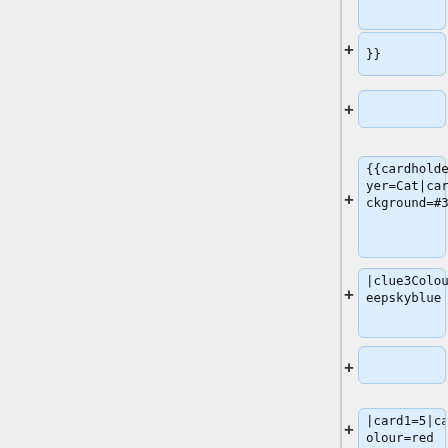[Figure (screenshot): A diff/editor view showing code blocks with wiki template syntax. Left panel is grey (empty), right panel shows a vertical list of code blocks with blue background containing template parameters. Each block has a + sign on its left indicating additions. Blocks contain: '}}'(partially visible at top), empty block, '{{cardholder|player=Cat|cardBackground=#324', '|clue3Colour=deepskyblue', empty block, '|card1=5|card1Colour=red', '|card2=2|card2Colour=red', '|card3=2|card3Colour=deepskyb\nlue', '|card4=2|card4C (partially visible)']